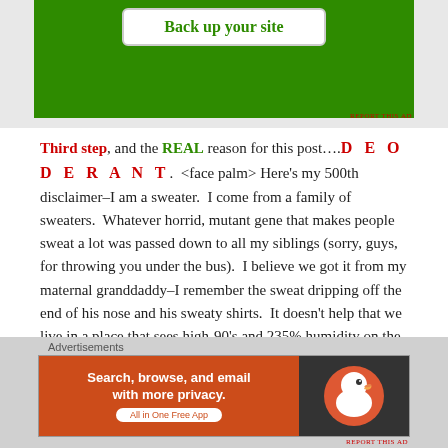[Figure (screenshot): Top advertisement banner with green background and 'Back up your site' button in white]
Third step, and the REAL reason for this post....DEODORANT.  <face palm> Here's my 500th disclaimer–I am a sweater.  I come from a family of sweaters.  Whatever horrid, mutant gene that makes people sweat a lot was passed down to all my siblings (sorry, guys, for throwing you under the bus).  I believe we got it from my maternal granddaddy–I remember the sweat dripping off the end of his nose and his sweaty shirts.  It doesn't help that we live in a place that sees high-90's and 235% humidity on the regular.  So, to say I was little hesitant to try a natural deodorant...
Advertisements
[Figure (screenshot): DuckDuckGo advertisement banner: 'Search, browse, and email with more privacy. All in One Free App' with DuckDuckGo logo on dark background]